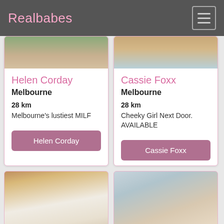Realbabes
Helen Corday
Melbourne
28 km
Melbourne's lustiest MILF
Cassie Foxx
Melbourne
28 km
Cheeky Girl Next Door. AVAILABLE
[Figure (photo): Photo of a woman with red hair taking a selfie in a mirror, wearing a white shirt]
[Figure (photo): Photo of a blonde woman smiling, with windows in the background]